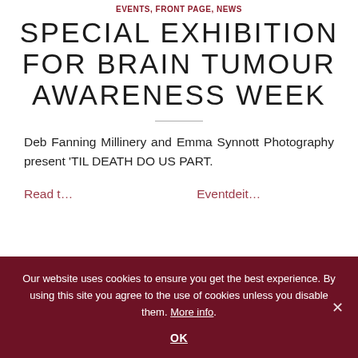EVENTS, FRONT PAGE, NEWS
SPECIAL EXHIBITION FOR BRAIN TUMOUR AWARENESS WEEK
Deb Fanning Millinery and Emma Synnott Photography present 'TIL DEATH DO US PART.
Read t...  Eventdeit...
Our website uses cookies to ensure you get the best experience. By using this site you agree to the use of cookies unless you disable them. More info.
OK